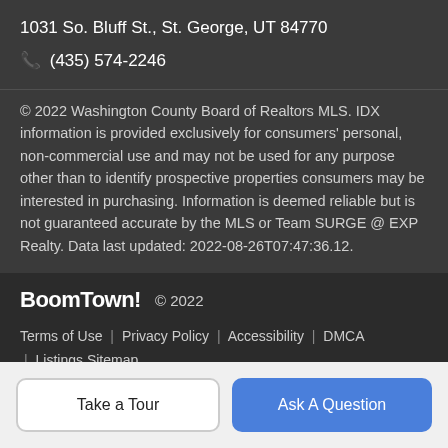1031 So. Bluff St., St. George, UT 84770
📞 (435) 574-2246
© 2022 Washington County Board of Realtors MLS. IDX information is provided exclusively for consumers' personal, non-commercial use and may not be used for any purpose other than to identify prospective properties consumers may be interested in purchasing. Information is deemed reliable but is not guaranteed accurate by the MLS or Team SURGE @ EXP Realty. Data last updated: 2022-08-26T07:47:36.12.
BoomTown! © 2022
Terms of Use | Privacy Policy | Accessibility | DMCA | Listings Sitemap
Take a Tour
Ask A Question